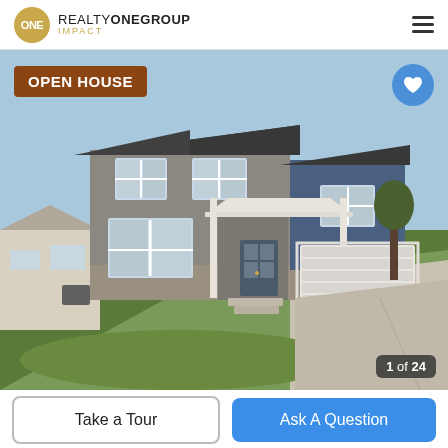ONE REALTY ONE GROUP IMPACT
[Figure (photo): Exterior photo of a two-story residential home with gray siding, blue accent panels, stone base, white-trimmed windows, front-entry porch, and attached garage. Green lawn in foreground. OPEN HOUSE badge overlaid top-left. Heart button top-right. Image counter '1 of 24' bottom-right.]
Take a Tour
Ask A Question